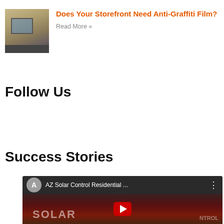[Figure (photo): Storefront building with stone facade and windows]
Does Your Storefront Need Anti-Graffiti Film?
Read More »
Follow Us
Success Stories
[Figure (screenshot): YouTube video embed header showing 'AZ Solar Control Residential ...' with avatar letter A, and video thumbnail with YouTube play button and SOLAR CONTROL branding]